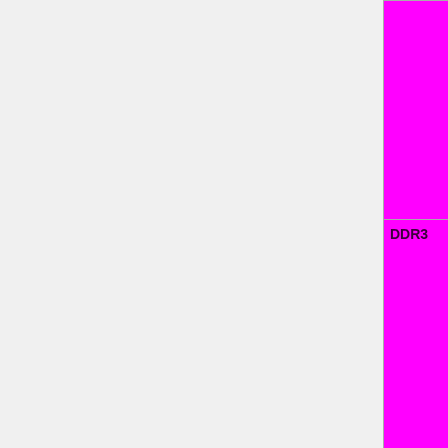| Feature | Status |
| --- | --- |
|  | No=red | WIP=orange Untested=yellow | N/A=lightgray yellow }}" | N/A |
| DDR3 | OK=lime | TODO=red | No=red | WIP=orange Untested=yellow | N/A=lightgray yellow }}" | OK |
| Dual channel support | OK=lime | TODO=red | No=red | WIP=orange Untested=yellow | N/A=lightgray yellow }}" | OK |
| ECC support | OK=lime | TODO=red |